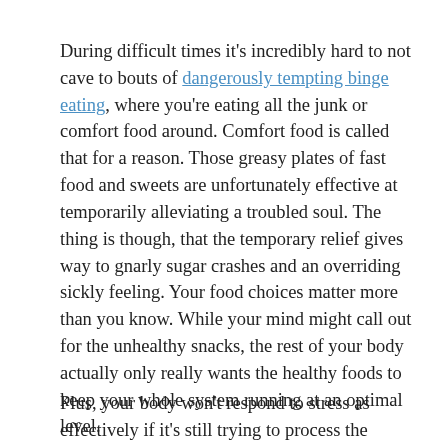During difficult times it's incredibly hard to not cave to bouts of dangerously tempting binge eating, where you're eating all the junk or comfort food around. Comfort food is called that for a reason. Those greasy plates of fast food and sweets are unfortunately effective at temporarily alleviating a troubled soul. The thing is though, that the temporary relief gives way to gnarly sugar crashes and an overriding sickly feeling. Your food choices matter more than you know. While your mind might call out for the unhealthy snacks, the rest of your body actually only really wants the healthy foods to keep your whole system running at an optimal level.
Plus, your body won't respond to stress as effectively if it's still trying to process the burger